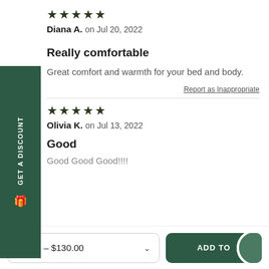★★★★★
Diana A. on Jul 20, 2022
Really comfortable
Great comfort and warmth for your bed and body.
Report as Inappropriate
★★★★★
Olivia K. on Jul 13, 2022
Good
Good Good Good!!!!
Single – $130.00
ADD TO